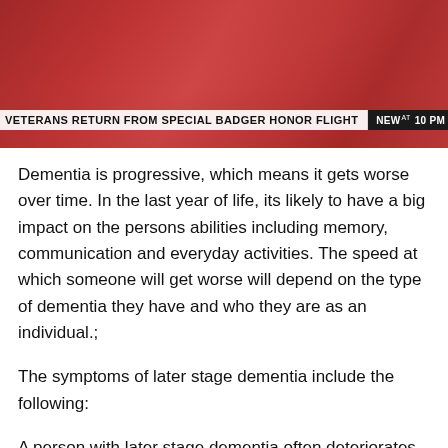[Figure (screenshot): News broadcast screenshot showing veterans in red jackets with a lower-third chyron reading 'VETERANS RETURN FROM SPECIAL BADGER HONOR FLIGHT' and 'NEW at 10 PM' bug]
Dementia is progressive, which means it gets worse over time. In the last year of life, its likely to have a big impact on the persons abilities including memory, communication and everyday activities. The speed at which someone will get worse will depend on the type of dementia they have and who they are as an individual.;
The symptoms of later stage dementia include the following:
A person with later stage dementia often deteriorates slowly over many months. They gradually become more frail, and will need more help with everyday activities such as eating, dressing, washing and using the toilet. People may experience weight loss, as swallowing and chewing become more difficult.;